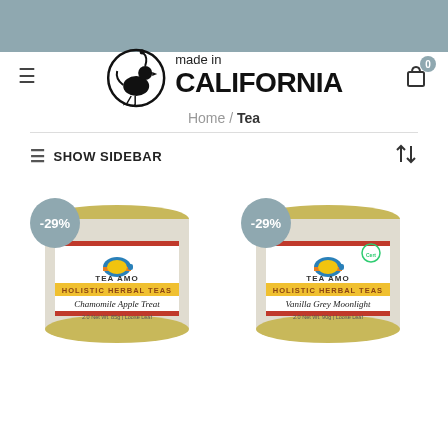[Figure (logo): Made in California logo with quail bird inside a circle, text 'made in CALIFORNIA' bold]
Home / Tea
SHOW SIDEBAR
[Figure (photo): Tea AMO product tin - Chamomile Apple Treat, Holistic Herbal Teas, 2.0 Net Wt. 85g, Loose Leaf, with -29% discount badge]
[Figure (photo): Tea AMO product tin - Vanilla Grey Moonlight, Holistic Herbal Teas, 2.0 Net Wt. 90g, Loose Leaf, with -29% discount badge]